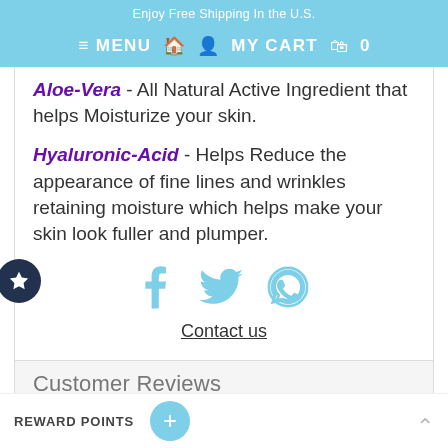Enjoy Free Shipping In the U.S.
≡ MENU  🏠  👤  MY CART  🛍  0
Aloe-Vera - All Natural Active Ingredient that helps Moisturize your skin.
Hyaluronic-Acid - Helps Reduce the appearance of fine lines and wrinkles retaining moisture which helps make your skin look fuller and plumper.
[Figure (infographic): Social media icons: Facebook (f), Twitter (bird), Pinterest (P)]
Contact us
Customer Reviews
Based on 0 reviews Write a review
REWARD POINTS